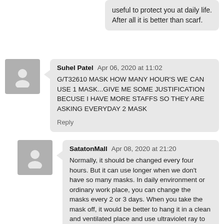useful to protect you at daily life. After all it is better than scarf.
Suhel Patel  Apr 06, 2020 at 11:02
G/T32610 MASK HOW MANY HOUR'S WE CAN USE 1 MASK...GIVE ME SOME JUSTIFICATION BECUSE I HAVE MORE STAFFS SO THEY ARE ASKING EVERYDAY 2 MASK
Reply
SatatonMall  Apr 08, 2020 at 21:20
Normally, it should be changed every four hours. But it can use longer when we don't have so many masks. In daily environment or ordinary work place, you can change the masks every 2 or 3 days. When you take the mask off, it would be better to hang it in a clean and ventilated place and use ultraviolet ray to help with disinfection. Don't wash the